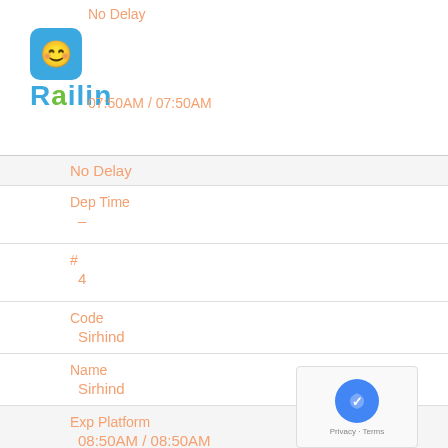[Figure (logo): Railin app logo with blue smiling cube icon and green/blue text]
No Delay
07:50AM / 07:50AM
No Delay
Dep Time
-
#
4
Code
Sirhind
Name
Sirhind
Exp Platform
08:50AM / 08:50AM
No Delay
Arr Time
09:05AM / 09:05AM
No Delay